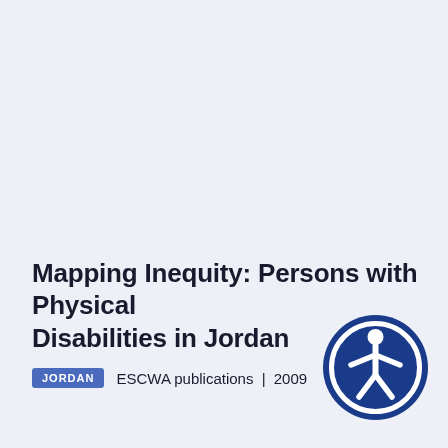Mapping Inequity: Persons with Physical Disabilities in Jordan
JORDAN   ESCWA publications | 2009
[Figure (illustration): Accessibility icon: blue circle with white outline circle inside, containing a white stick figure with arms outstretched, representing a person with a disability (wheelchair/accessibility symbol variant)]